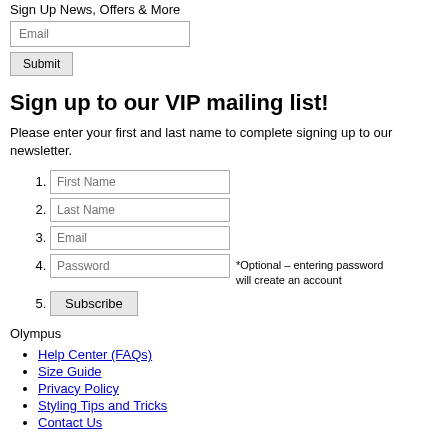Sign Up News, Offers & More
Sign up to our VIP mailing list!
Please enter your first and last name to complete signing up to our newsletter.
1. First Name
2. Last Name
3. Email
4. Password  *Optional – entering password will create an account
5. Subscribe
Olympus
Help Center (FAQs)
Size Guide
Privacy Policy
Styling Tips and Tricks
Contact Us